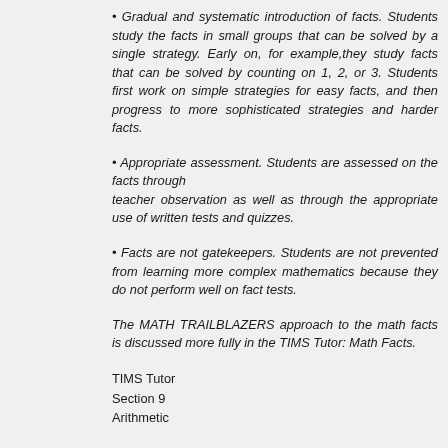Gradual and systematic introduction of facts. Students study the facts in small groups that can be solved by a single strategy. Early on, for example,they study facts that can be solved by counting on 1, 2, or 3. Students first work on simple strategies for easy facts, and then progress to more sophisticated strategies and harder facts.
Appropriate assessment. Students are assessed on the facts through teacher observation as well as through the appropriate use of written tests and quizzes.
Facts are not gatekeepers. Students are not prevented from learning more complex mathematics because they do not perform well on fact tests.
The MATH TRAILBLAZERS approach to the math facts is discussed more fully in the TIMS Tutor: Math Facts.
TIMS Tutor
Section 9
Arithmetic